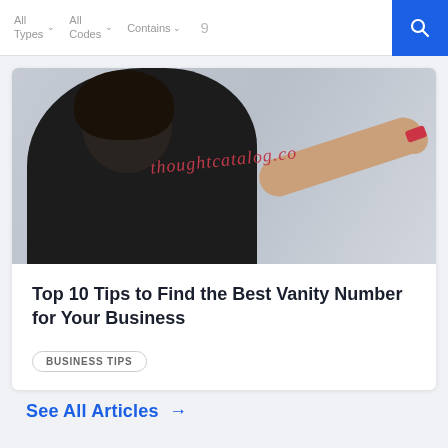All Types  All Codes  Contains  9
[Figure (photo): Person with dark curly hair wearing a black shirt writing on a white board with a red marker; text 'thoughtcatalog.co' visible on the board]
Top 10 Tips to Find the Best Vanity Number for Your Business
BUSINESS TIPS
See All Articles →